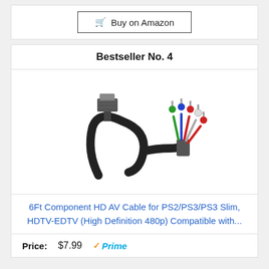Buy on Amazon
Bestseller No. 4
[Figure (photo): A 6Ft Component HD AV cable with a rectangular connector on one end and five color-coded RCA connectors (green, blue, red, white, red) on the other end, black braided cable coiled in the middle.]
6Ft Component HD AV Cable for PS2/PS3/PS3 Slim, HDTV-EDTV (High Definition 480p) Compatible with...
Price: $7.99 Prime